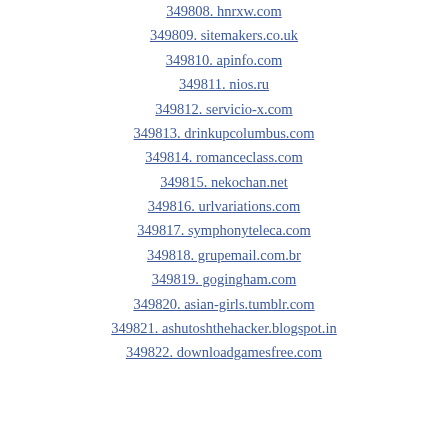349808. hnrxw.com
349809. sitemakers.co.uk
349810. apinfo.com
349811. nios.ru
349812. servicio-x.com
349813. drinkupcolumbus.com
349814. romanceclass.com
349815. nekochan.net
349816. urlvariations.com
349817. symphonyteleca.com
349818. grupemail.com.br
349819. gogingham.com
349820. asian-girls.tumblr.com
349821. ashutoshthehacker.blogspot.in
349822. downloadgamesfree.com